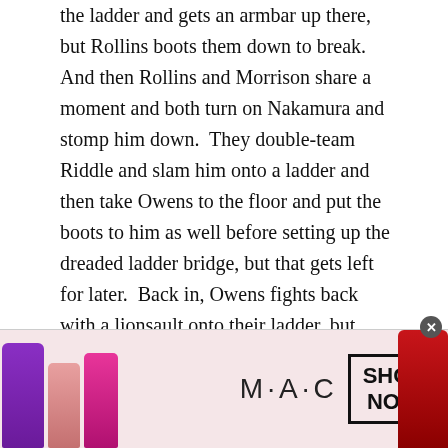the ladder and gets an armbar up there, but Rollins boots them down to break.  And then Rollins and Morrison share a moment and both turn on Nakamura and stomp him down.  They double-team Riddle and slam him onto a ladder and then take Owens to the floor and put the boots to him as well before setting up the dreaded ladder bridge, but that gets left for later.  Back in, Owens fights back with a lionsault onto their ladder, but they team up with a sick suplex onto the edge of the ladder.  Drew goes after the heels, but they manage to beat HIM down too and Morrison comes off the top with a twisting elbow onto Drew that seems to miss.  And then Seth turns on his partner and sends him out of the ring, as he tries for the climb.  Riddle brings him down for an RKO and then does a nifty striking battle with Nakamura, but
[Figure (photo): MAC cosmetics advertisement banner showing colorful lipsticks (purple, pink, red), MAC logo text, SHOP NOW button in a black border box, and a red lipstick on the right edge.]